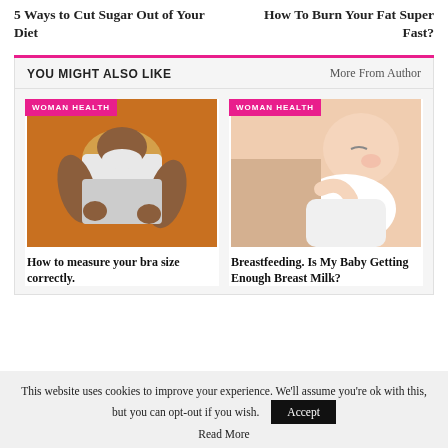5 Ways to Cut Sugar Out of Your Diet
How To Burn Your Fat Super Fast?
YOU MIGHT ALSO LIKE
More From Author
[Figure (photo): Woman in white t-shirt holding her chest area, orange background, WOMAN HEALTH badge]
How to measure your bra size correctly.
[Figure (photo): Baby breastfeeding, close-up, WOMAN HEALTH badge]
Breastfeeding. Is My Baby Getting Enough Breast Milk?
This website uses cookies to improve your experience. We'll assume you're ok with this, but you can opt-out if you wish.
Accept
Read More